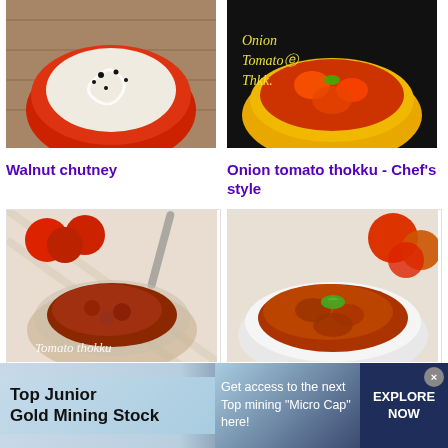[Figure (photo): Walnut chutney in a red bowl with white swirl pattern on top]
[Figure (photo): Onion tomato thokku in a yellow bowl on dark background with text overlay]
Walnut chutney
Onion tomato thokku - Chef's style
[Figure (photo): Easy tomato thokku in a glass bowl with text overlay 'Tomato thokku']
[Figure (photo): Thakkali thokku in a white bowl surrounded by tomatoes]
Easy tomato thokku Recipe
Thakkali thokku - My mom's style
[Figure (photo): Partial view of another recipe image bottom left]
[Figure (photo): Partial view of another recipe image bottom right]
Top Junior Gold Mining Stock
Get access to the next Top mining "Micro Cap" here!
EXPLORE NOW